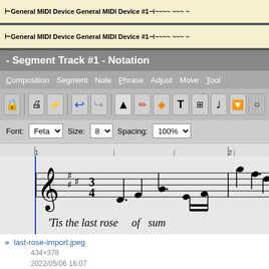[Figure (screenshot): Screenshot of a music notation software (Rosegarden) showing MIDI device tracks, toolbar with Font: Feta, Size: 8, Spacing: 100%, a notation editor with treble clef, key signature with sharps, time signature 3/4, musical notes, and the lyric text "'Tis the last rose of sum"]
last-rose-import.jpeg
434×378
2022/05/06 16:07
54.2 KB
last-rose-mutopia.jpeg
1081×187